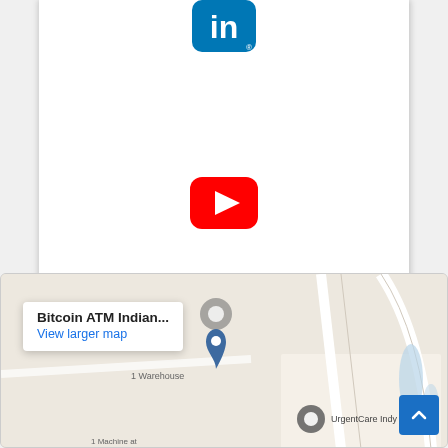[Figure (logo): LinkedIn logo icon — blue rounded square with white 'in' text]
[Figure (logo): YouTube logo icon — red rounded square with white play button]
[Figure (logo): Twitter logo icon — blue rounded square with white bird]
[Figure (map): Google Maps embedded map showing Bitcoin ATM Indianapolis area with UrgentCare Indy marker and popup showing 'Bitcoin ATM Indian...' with 'View larger map' link]